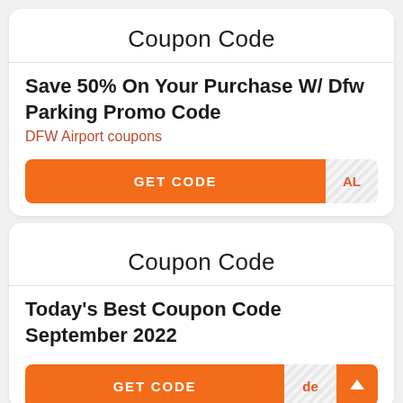Coupon Code
Save 50% On Your Purchase W/ Dfw Parking Promo Code
DFW Airport coupons
GET CODE  AL
Coupon Code
Today's Best Coupon Code September 2022
GET CODE  de